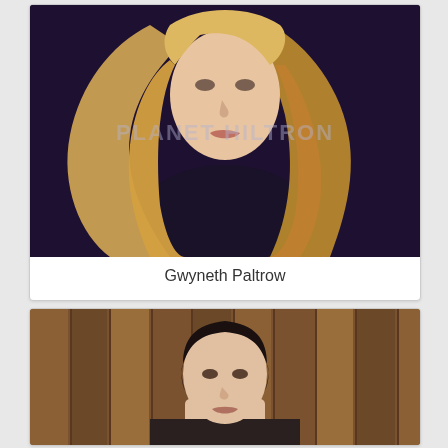[Figure (photo): Portrait photo of a blonde woman with long flowing hair against a dark background. Watermark text reading PLANET HILTRON overlaid on the image.]
Gwyneth Paltrow
[Figure (photo): Photo of a dark-haired person in front of vertical wood panel background. Partially visible, showing head and upper torso.]